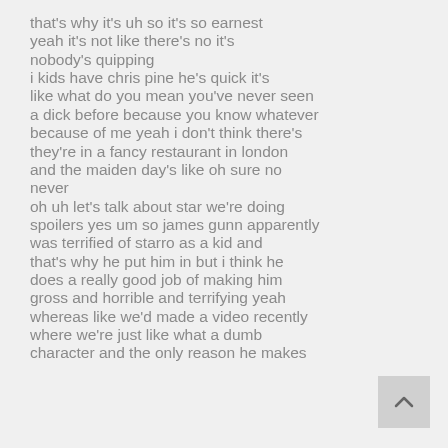that's why it's uh so it's so earnest yeah it's not like there's no it's nobody's quipping i kids have chris pine he's quick it's like what do you mean you've never seen a dick before because you know whatever because of me yeah i don't think there's they're in a fancy restaurant in london and the maiden day's like oh sure no never oh uh let's talk about star we're doing spoilers yes um so james gunn apparently was terrified of starro as a kid and that's why he put him in but i think he does a really good job of making him gross and horrible and terrifying yeah whereas like we'd made a video recently where we're just like what a dumb character and the only reason he makes